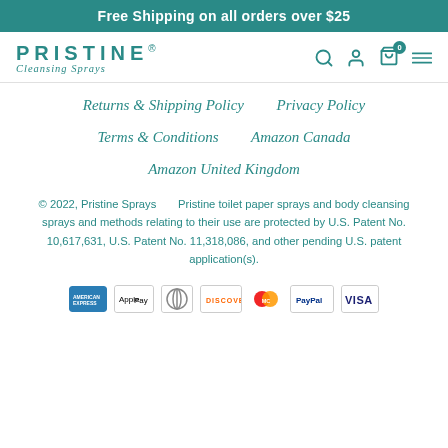Free Shipping on all orders over $25
[Figure (logo): PRISTINE Cleansing Sprays logo with teal text]
Returns & Shipping Policy
Privacy Policy
Terms & Conditions
Amazon Canada
Amazon United Kingdom
© 2022, Pristine Sprays      Pristine toilet paper sprays and body cleansing sprays and methods relating to their use are protected by U.S. Patent No. 10,617,631, U.S. Patent No. 11,318,086, and other pending U.S. patent application(s).
[Figure (other): Payment method icons: American Express, Apple Pay, Diners Club, Discover, MasterCard, PayPal, VISA]